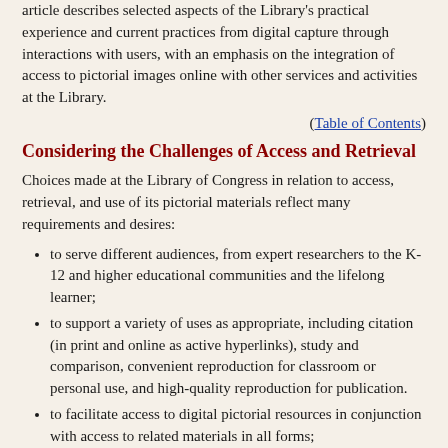article describes selected aspects of the Library's practical experience and current practices from digital capture through interactions with users, with an emphasis on the integration of access to pictorial images online with other services and activities at the Library.
(Table of Contents)
Considering the Challenges of Access and Retrieval
Choices made at the Library of Congress in relation to access, retrieval, and use of its pictorial materials reflect many requirements and desires:
to serve different audiences, from expert researchers to the K-12 and higher educational communities and the lifelong learner;
to support a variety of uses as appropriate, including citation (in print and online as active hyperlinks), study and comparison, convenient reproduction for classroom or personal use, and high-quality reproduction for publication.
to facilitate access to digital pictorial resources in conjunction with access to related materials in all forms;
to find a balance between demand by users for ever more detailed description for resources currently accessible and